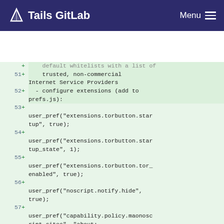Tails GitLab — Menu
51 + trusted, non-commercial Internet Service Providers
52 + - configure extensions (add to prefs.js):
53 +
   user_pref("extensions.torbutton.startup", true);
54 +
   user_pref("extensions.torbutton.startup_state", 1);
55 +
   user_pref("extensions.torbutton.tor_enabled", true);
56 +
   user_pref("noscript.notify.hide", true);
57 +
   user_pref("capability.policy.maonoscript.sites", "about: